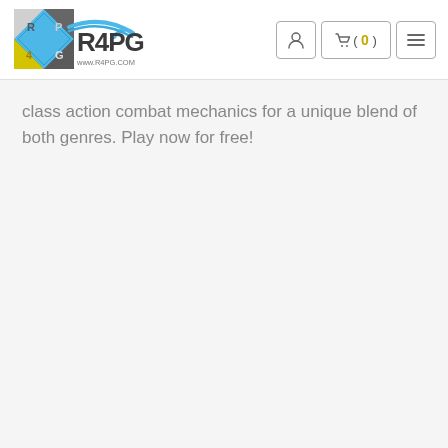R4PG.com — www.r4pg.com navigation header with logo, user icon, cart (0), and menu
class action combat mechanics for a unique blend of both genres. Play now for free!